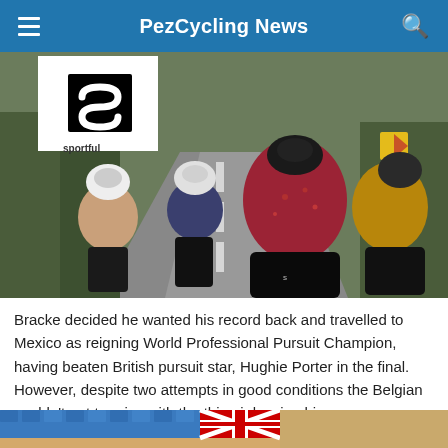PezCycling News
[Figure (photo): Four cyclists viewed from behind riding down a road. One wears a Sportful-branded jersey (red with pattern), another a dark blue jersey, another a tan/brown jersey with white helmet, and a fourth in a gold jersey at far right. Sportful logo overlaid top-left corner.]
Bracke decided he wanted his record back and travelled to Mexico as reigning World Professional Pursuit Champion, having beaten British pursuit star, Hughie Porter in the final. However, despite two attempts in good conditions the Belgian couldn't get to grips with the thin air leaving his sponsor, Peugeot with no record or positive publicity, just a huge bill.
[Figure (photo): Partial view of a velodrome or cycling track with blue stadium seats visible and what appears to be a British flag.]